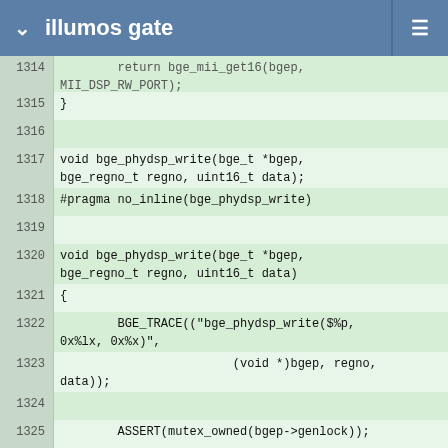illumos gate
1314    return bge_mii_get16(bgep, MII_DSP_RW_PORT);
1315    }
1316
1317    void bge_phydsp_write(bge_t *bgep, bge_regno_t regno, uint16_t data);
1318    #pragma no_inline(bge_phydsp_write)
1319
1320    void bge_phydsp_write(bge_t *bgep, bge_regno_t regno, uint16_t data)
1321    {
1322            BGE_TRACE(("bge_phydsp_write($%p, 0x%lx, 0x%x)",
1323                            (void *)bgep, regno, data));
1324
1325            ASSERT(mutex_owned(bgep->genlock));
1326
1327            bge_mii_put16(bgep, MII_DSP_ADDRESS, regno);
1328            bge_mii_put16(bgep, MII_DSP_RW_PORT,